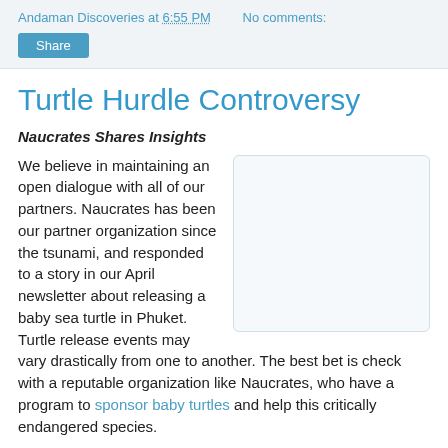Andaman Discoveries at 6:55 PM   No comments:
Share
Turtle Hurdle Controversy
Naucrates Shares Insights
[Figure (photo): A blank/white placeholder image with light blue border, likely a photo of a sea turtle or related content]
We believe in maintaining an open dialogue with all of our partners. Naucrates has been our partner organization since the tsunami, and responded to a story in our April newsletter about releasing a baby sea turtle in Phuket. Turtle release events may vary drastically from one to another. The best bet is check with a reputable organization like Naucrates, who have a program to sponsor baby turtles and help this critically endangered species.